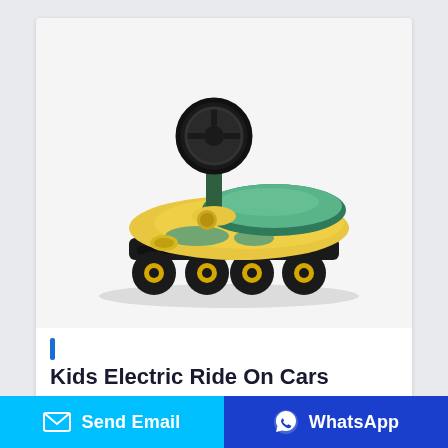[Figure (photo): A yellow and green kids ride-on swing car toy with a black steering wheel, a teal/green padded seat, yellow body, black chassis/frame, and multiple small wheels with yellow hubs. The toy is shown on a white background at a slight angle.]
Kids Electric Ride On Cars
Send Email
WhatsApp